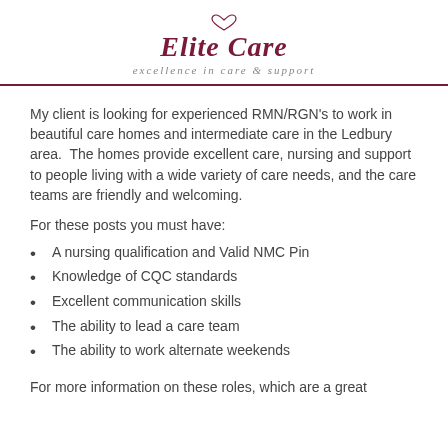Elite Care — excellence in care & support
My client is looking for experienced RMN/RGN's to work in beautiful care homes and intermediate care in the Ledbury area.  The homes provide excellent care, nursing and support to people living with a wide variety of care needs, and the care teams are friendly and welcoming.
For these posts you must have:
A nursing qualification and Valid NMC Pin
Knowledge of CQC standards
Excellent communication skills
The ability to lead a care team
The ability to work alternate weekends
For more information on these roles, which are a great